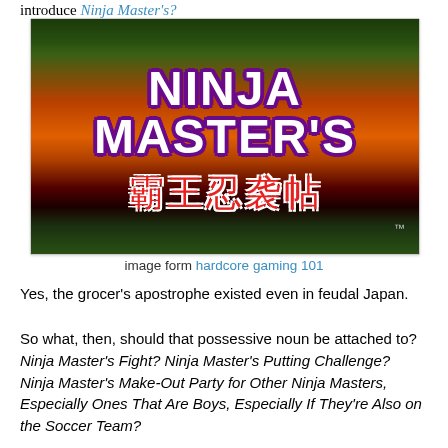introduce Ninja Master's?
[Figure (photo): Title screen / logo for the video game 'Ninja Master's' showing large white and purple lettered title text on a dramatic sunset background with green foliage, and red Japanese characters beneath the English title, with a TM symbol.]
image form hardcore gaming 101
Yes, the grocer's apostrophe existed even in feudal Japan.
So what, then, should that possessive noun be attached to? Ninja Master's Fight? Ninja Master's Putting Challenge? Ninja Master's Make-Out Party for Other Ninja Masters, Especially Ones That Are Boys, Especially If They're Also on the Soccer Team?